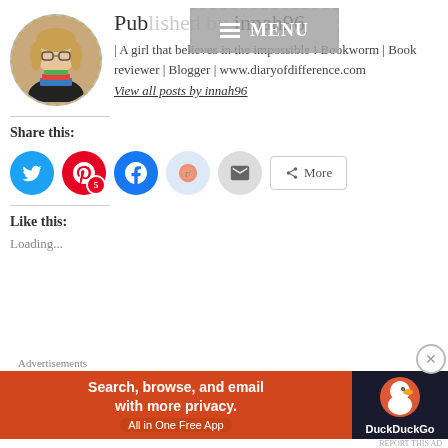[Figure (photo): Circular profile photo of a young woman with glasses holding books, with dashed border]
Published by innah96
| A girl that believes in the impossible ! Bookworm | Book reviewer | Blogger | www.diaryofdifference.com
View all posts by innah96
Share this:
[Figure (screenshot): Social share buttons: Twitter (blue circle), Pinterest (red circle with badge 5), Facebook (blue circle), Reddit (light blue circle), Email (grey circle), More button]
Like this:
Loading...
Advertisements
[Figure (screenshot): DuckDuckGo advertisement banner: orange-red background with text 'Search, browse, and email with more privacy. All in One Free App' and DuckDuckGo duck logo on dark background]